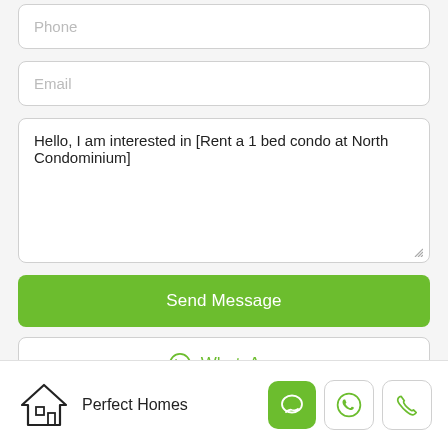[Figure (screenshot): Phone input field (placeholder text), partially visible at top]
[Figure (screenshot): Email input field with placeholder text 'Email']
Hello, I am interested in [Rent a 1 bed condo at North Condominium]
Send Message
WhatsApp
Perfect Homes